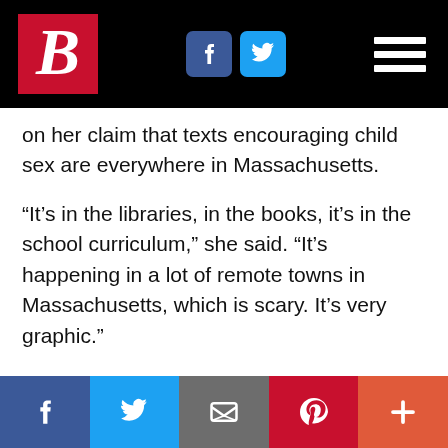Breitbart navigation bar with logo, Facebook, Twitter icons and hamburger menu
on her claim that texts encouraging child sex are everywhere in Massachusetts.
“It’s in the libraries, in the books, it’s in the school curriculum,” she said. “It’s happening in a lot of remote towns in Massachusetts, which is scary. It’s very graphic.”
Campbell may be out of step with the larger Massachusetts electorate, but her breed of politics is in keeping with state GOP chairman and former state Rep. Jim Lyons, who
Share bar: Facebook, Twitter, Email, Pinterest, More